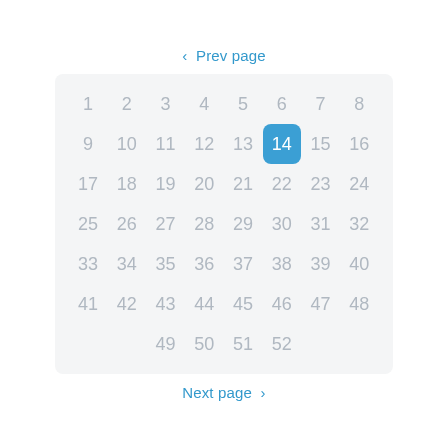< Prev page
[Figure (other): A pagination grid showing numbers 1-52 arranged in an 8-column grid with number 14 highlighted in blue, with Prev page and Next page navigation links.]
Next page >